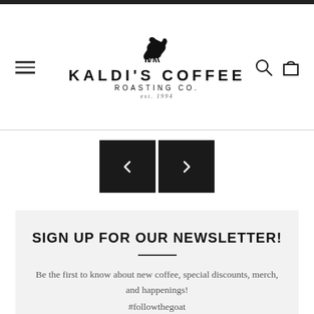Kaldi's Coffee Roasting Co. est. 1994
[Figure (screenshot): Navigation carousel left/right arrow buttons (dark squares with < and > symbols)]
SIGN UP FOR OUR NEWSLETTER!
Be the first to know about new coffee, special discounts, merch, and happenings! #followthegoat
email@example.com